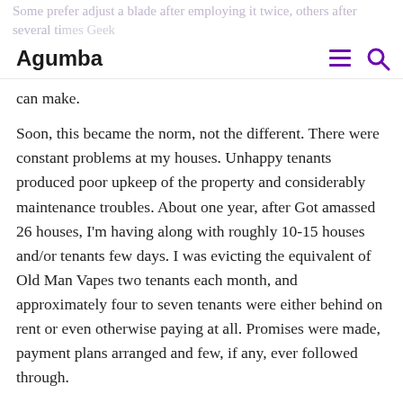Some prefer adjust a blade after employing it twice, others after several times Geek Vape Inexperienced one . expect between 5 to 7 can make.
Agumba [hamburger menu] [search icon]
can make.
Soon, this became the norm, not the different. There were constant problems at my houses. Unhappy tenants produced poor upkeep of the property and considerably maintenance troubles. About one year, after Got amassed 26 houses, I'm having along with roughly 10-15 houses and/or tenants few days. I was evicting the equivalent of Old Man Vapes two tenants each month, and approximately four to seven tenants were either behind on rent or even otherwise paying at all. Promises were made, payment plans arranged and few, if any, ever followed through.
exotic420thcvapes won't know unless you try.